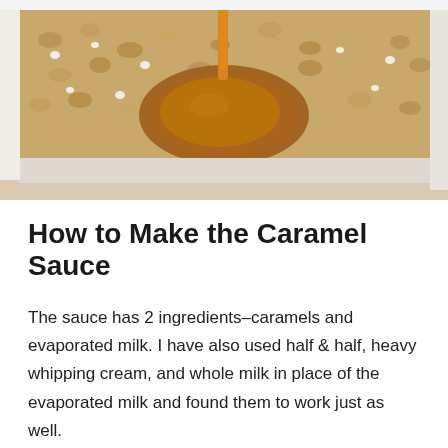[Figure (photo): Close-up photo of caramel sauce being poured from above onto a baking dish filled with a crumbly oat or cereal mixture. The caramel forms a pool in the center. A white ceramic baking dish is visible, and the background is white.]
How to Make the Caramel Sauce
The sauce has 2 ingredients–caramels and evaporated milk. I have also used half & half, heavy whipping cream, and whole milk in place of the evaporated milk and found them to work just as well.